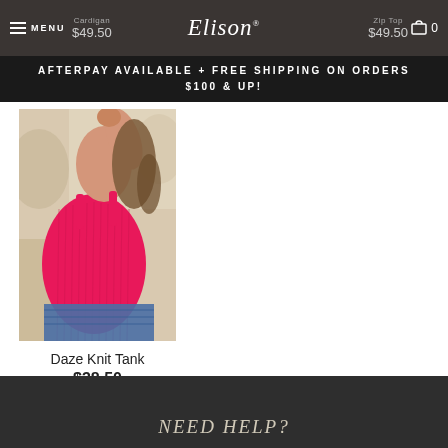MENU | Cardigan $49.50 | Elison® | Zip Top $49.50 | Cart 0
AFTERPAY AVAILABLE + FREE SHIPPING ON ORDERS $100 & UP!
[Figure (photo): Woman wearing a hot pink ribbed knit crop tank top, photographed from behind/side angle outdoors]
Daze Knit Tank
$38.50
NEED HELP?